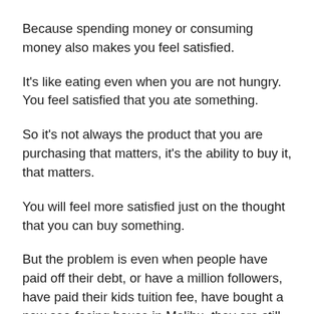Because spending money or consuming money also makes you feel satisfied.
It's like eating even when you are not hungry. You feel satisfied that you ate something.
So it's not always the product that you are purchasing that matters, it's the ability to buy it, that matters.
You will feel more satisfied just on the thought that you can buy something.
But the problem is even when people have paid off their debt, or have a million followers, have paid their kids tuition fee, have bought a new sea-facing house in Malibu, they are still unhappy or dissatisfied.